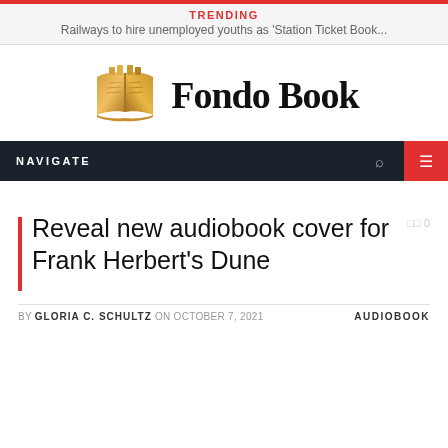TRENDING
Railways to hire unemployed youths as 'Station Ticket Book...
[Figure (logo): Fondo Book logo with golden open book icon and blackletter 'Fondo Book' text]
NAVIGATE
Reveal new audiobook cover for Frank Herbert's Dune
BY GLORIA C. SCHULTZ ON OCTOBER 7, 2021   AUDIOBOOK